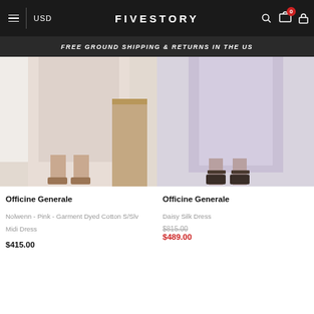FIVESTORY | USD | FREE GROUND SHIPPING & RETURNS IN THE US
[Figure (photo): Model wearing a pink midi dress with sandals, lower body shown on light background]
Officine Generale
Nolwenn - Pink - Garment Dyed Cotton S/Slv Midi Dress
$415.00
[Figure (photo): Model wearing a lavender/lilac silk midi dress with sandals, lower body shown on grey background]
Officine Generale
Daisy Silk Dress
$815.00 $489.00